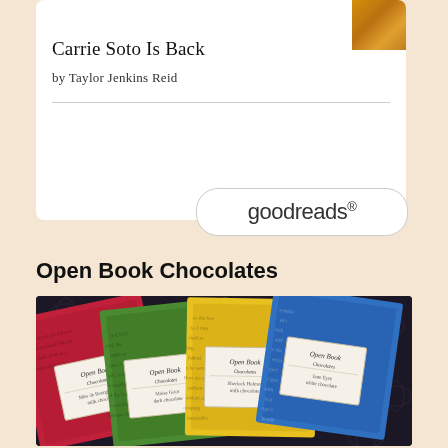[Figure (screenshot): Goodreads book card for 'Carrie Soto Is Back' by Taylor Jenkins Reid, with a small book cover thumbnail and a Goodreads logo badge]
Carrie Soto Is Back
by Taylor Jenkins Reid
Open Book Chocolates
[Figure (photo): Four chocolate bars from Open Book Chocolates fanned out on a dark floral background — red, green, yellow, and blue wrappers with literary text printed on them, each with a cream-colored label]